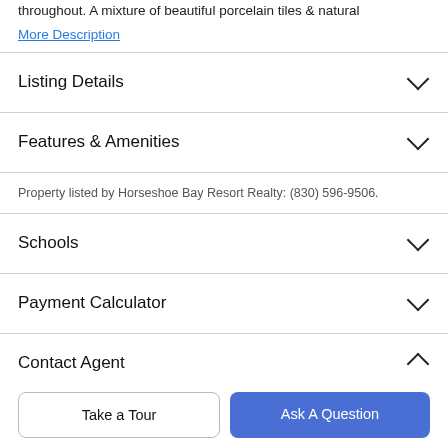throughout. A mixture of beautiful porcelain tiles & natural
More Description
Listing Details
Features & Amenities
Property listed by Horseshoe Bay Resort Realty: (830) 596-9506.
Schools
Payment Calculator
Contact Agent
Take a Tour
Ask A Question